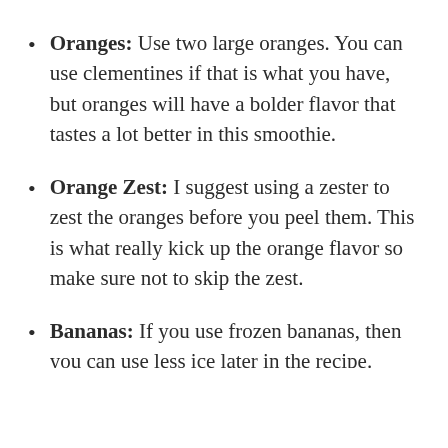Oranges: Use two large oranges. You can use clementines if that is what you have, but oranges will have a bolder flavor that tastes a lot better in this smoothie.
Orange Zest: I suggest using a zester to zest the oranges before you peel them. This is what really kick up the orange flavor so make sure not to skip the zest.
Bananas: If you use frozen bananas, then you can use less ice later in the recipe. Don't have any? Here are a few tips on how to store frozen bananas!